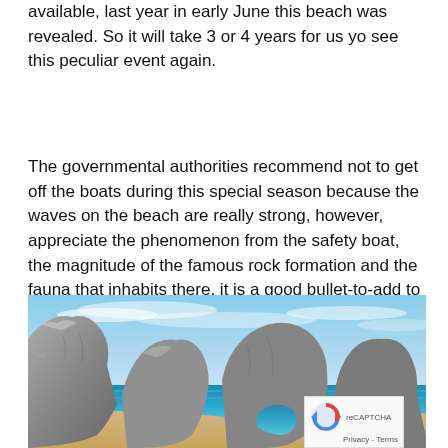available, last year in early June this beach was revealed. So it will take 3 or 4 years for us yo see this peculiar event again.
The governmental authorities recommend not to get off the boats during this special season because the waves on the beach are really strong, however, appreciate the phenomenon from the safety boat, the magnitude of the famous rock formation and the fauna that inhabits there, it is a good bullet-to-add to your bucket list.
[Figure (photo): Photograph of Los Cabos rock arch formation (El Arco) with dramatic rock formations rising from blue-green ocean water, sandy beach, and blue sky with wispy clouds. A WhatsApp icon overlay appears in the upper right corner, and a reCAPTCHA widget with Privacy and Terms text appears in the lower right corner.]